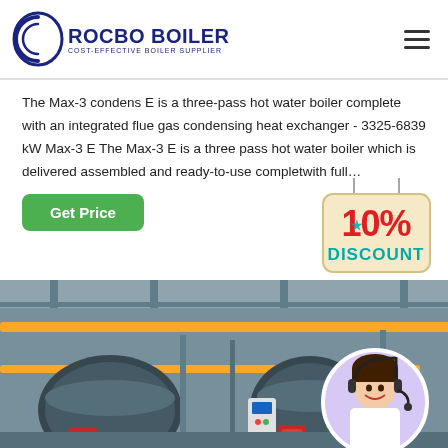[Figure (logo): Rocbo Boiler logo with circular emblem and text 'ROCBO BOILER - COST-EFFECTIVE BOILER SUPPLIER']
The Max-3 condens E is a three-pass hot water boiler complete with an integrated flue gas condensing heat exchanger - 3325-6839 kW Max-3 E The Max-3 E is a three pass hot water boiler which is delivered assembled and ready-to-use complet…with full…
[Figure (illustration): Green 'Get Price' button]
[Figure (infographic): 10% Discount badge hanging sign in red and teal colors]
[Figure (photo): Industrial boiler room with large blue/red boilers, yellow pipes, and equipment. Customer service representative with headset overlaid in bottom right corner.]